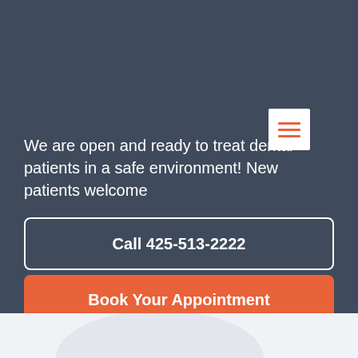[Figure (screenshot): Menu/hamburger icon button with three orange horizontal lines on white background, positioned top-right]
We are open and ready to treat dental patients in a safe environment! New patients welcome
Call 425-513-2222
Book Your Appointment